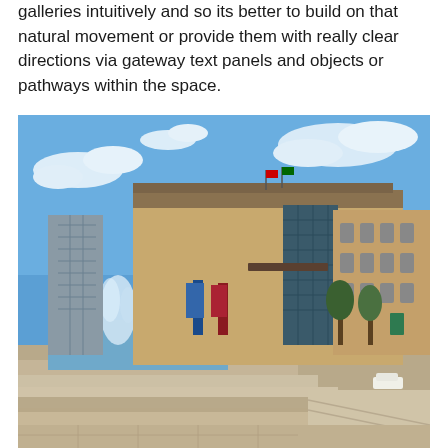galleries intuitively and so its better to build on that natural movement or provide them with really clear directions via gateway text panels and objects or pathways within the space.
[Figure (photo): Exterior photograph of the Australian Museum building in Sydney. The image shows the modern sandstone facade with glass elements, a fountain in the foreground, flags on the rooftop, and an older heritage sandstone wing on the right. Blue sky with clouds visible above.]